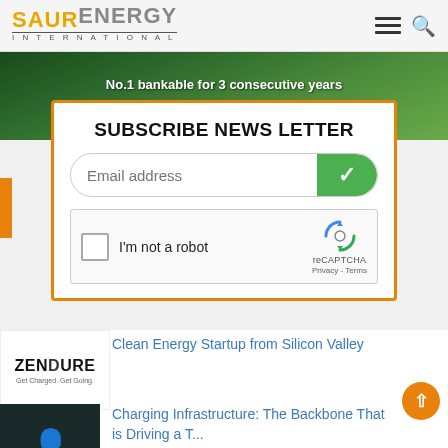SAUR ENERGY INTERNATIONAL
[Figure (photo): Green foliage background banner with text: No.1 bankable for 3 consecutive years, No.1 supplier in financed projects]
SUBSCRIBE NEWS LETTER
Email address [input field with green checkmark button]
[Figure (other): reCAPTCHA widget with checkbox labeled I'm not a robot, reCAPTCHA Privacy - Terms]
[Figure (logo): Zendure logo - Get Charged. Get Going.]
Clean Energy Startup from Silicon Valley
[Figure (photo): Photo of a man wearing glasses and blue jacket]
Charging Infrastructure: The Backbone That is Driving a T...